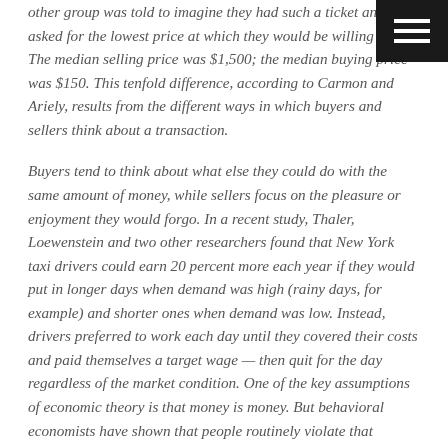other group was told to imagine they had such a ticket and was asked for the lowest price at which they would be willing to sell. The median selling price was $1,500; the median buying price was $150. This tenfold difference, according to Carmon and Ariely, results from the different ways in which buyers and sellers think about a transaction.
Buyers tend to think about what else they could do with the same amount of money, while sellers focus on the pleasure or enjoyment they would forgo. In a recent study, Thaler, Loewenstein and two other researchers found that New York taxi drivers could earn 20 percent more each year if they would put in longer days when demand was high (rainy days, for example) and shorter ones when demand was low. Instead, drivers preferred to work each day until they covered their costs and paid themselves a target wage — then quit for the day regardless of the market condition. One of the key assumptions of economic theory is that money is money. But behavioral economists have shown that people routinely violate that principle by segregating income or costs into different mental buckets or accounts, even when it winds up hurting them financially. Many people, for example, have vacation homes and time-share condominiums that wind up costing them more for each day of use than if they had vacationed at a nearby hotel. But